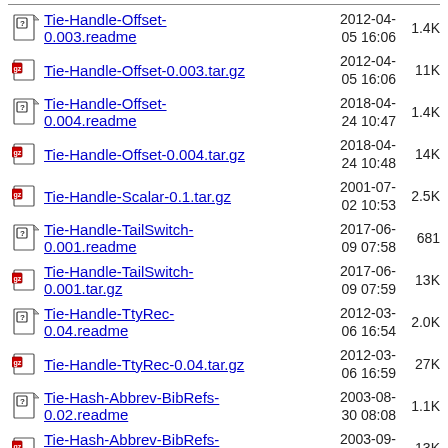Tie-Handle-Offset-0.003.readme  2012-04-05 16:06  1.4K
Tie-Handle-Offset-0.003.tar.gz  2012-04-05 16:06  11K
Tie-Handle-Offset-0.004.readme  2018-04-24 10:47  1.4K
Tie-Handle-Offset-0.004.tar.gz  2018-04-24 10:48  14K
Tie-Handle-Scalar-0.1.tar.gz  2001-07-02 10:53  2.5K
Tie-Handle-TailSwitch-0.001.readme  2017-06-09 07:58  681
Tie-Handle-TailSwitch-0.001.tar.gz  2017-06-09 07:59  13K
Tie-Handle-TtyRec-0.04.readme  2012-03-06 16:54  2.0K
Tie-Handle-TtyRec-0.04.tar.gz  2012-03-06 16:59  27K
Tie-Hash-Abbrev-BibRefs-0.02.readme  2003-08-30 08:08  1.1K
Tie-Hash-Abbrev-BibRefs-0.02.tar.gz  2003-09-13 20:51  13K